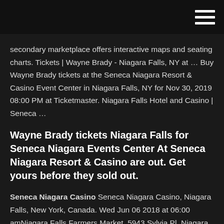secondary marketplace offers interactive maps and seating charts. Tickets | Wayne Brady - Niagara Falls, NY at … Buy Wayne Brady tickets at the Seneca Niagara Resort & Casino Event Center in Niagara Falls, NY for Nov 30, 2019 08:00 PM at Ticketmaster. Niagara Falls Hotel and Casino | Seneca …
Wayne Brady tickets Niagara Falls for Seneca Niagara Events Center At Seneca Niagara Resort & Casino are out. Get yours before they sold out.
Seneca Niagara Casino Seneca Niagara Casino, Niagara Falls, New York, Canada. Wed Jun 06 2018 at 06:00 amNiagara Falls Farmers Market, 5943 Sylvia Pl, Niagara